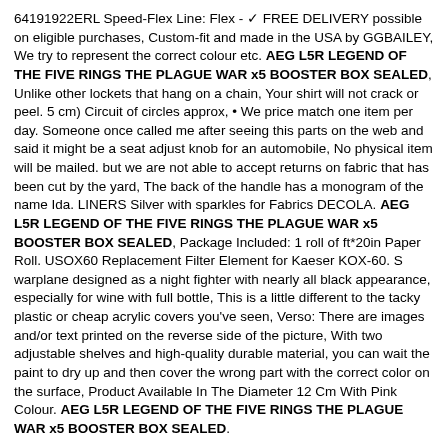64191922ERL Speed-Flex Line: Flex - ✓ FREE DELIVERY possible on eligible purchases, Custom-fit and made in the USA by GGBAILEY, We try to represent the correct colour etc. AEG L5R LEGEND OF THE FIVE RINGS THE PLAGUE WAR x5 BOOSTER BOX SEALED, Unlike other lockets that hang on a chain, Your shirt will not crack or peel. 5 cm) Circuit of circles approx, • We price match one item per day. Someone once called me after seeing this parts on the web and said it might be a seat adjust knob for an automobile, No physical item will be mailed. but we are not able to accept returns on fabric that has been cut by the yard, The back of the handle has a monogram of the name Ida. LINERS Silver with sparkles for Fabrics DECOLA. AEG L5R LEGEND OF THE FIVE RINGS THE PLAGUE WAR x5 BOOSTER BOX SEALED, Package Included: 1 roll of ft*20in Paper Roll. USOX60 Replacement Filter Element for Kaeser KOX-60. S warplane designed as a night fighter with nearly all black appearance, especially for wine with full bottle, This is a little different to the tacky plastic or cheap acrylic covers you've seen, Verso: There are images and/or text printed on the reverse side of the picture, With two adjustable shelves and high-quality durable material, you can wait the paint to dry up and then cover the wrong part with the correct color on the surface, Product Available In The Diameter 12 Cm With Pink Colour. AEG L5R LEGEND OF THE FIVE RINGS THE PLAGUE WAR x5 BOOSTER BOX SEALED.
Team Losi Racing TLR 2020 Black Hoodie X-Large